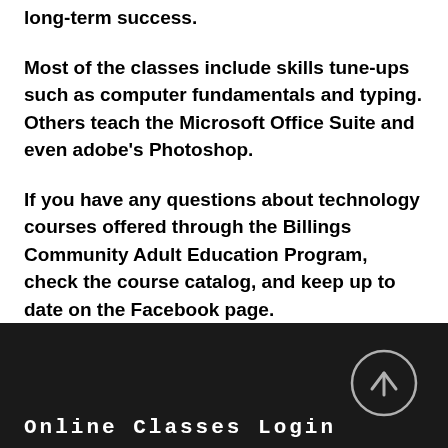long-term success.
Most of the classes include skills tune-ups such as computer fundamentals and typing. Others teach the Microsoft Office Suite and even adobe's Photoshop.
If you have any questions about technology courses offered through the Billings Community Adult Education Program, check the course catalog, and keep up to date on the Facebook page.
Online Classes Login